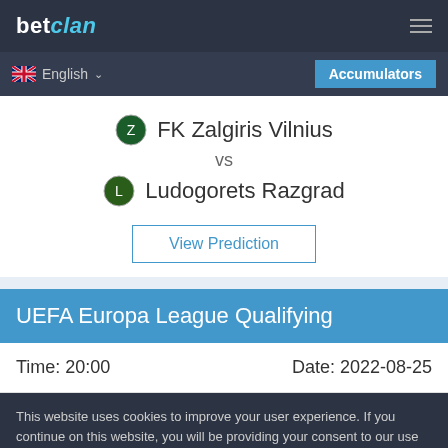betclan
English
Accumulators
FK Zalgiris Vilnius vs Ludogorets Razgrad
View Prediction
UEFA Europa League Qualifying
Time: 20:00    Date: 2022-08-25
This website uses cookies to improve your user experience. If you continue on this website, you will be providing your consent to our use of cookies.
Info
Accept